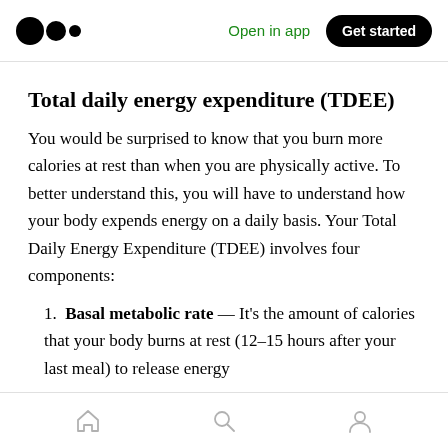Open in app | Get started
Total daily energy expenditure (TDEE)
You would be surprised to know that you burn more calories at rest than when you are physically active. To better understand this, you will have to understand how your body expends energy on a daily basis. Your Total Daily Energy Expenditure (TDEE) involves four components:
Basal metabolic rate — It's the amount of calories that your body burns at rest (12–15 hours after your last meal) to release energy
Home | Search | Profile